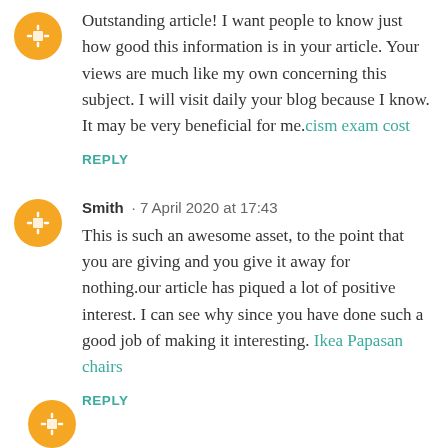Outstanding article! I want people to know just how good this information is in your article. Your views are much like my own concerning this subject. I will visit daily your blog because I know. It may be very beneficial for me.cism exam cost
REPLY
Smith · 7 April 2020 at 17:43
This is such an awesome asset, to the point that you are giving and you give it away for nothing.our article has piqued a lot of positive interest. I can see why since you have done such a good job of making it interesting. Ikea Papasan chairs
REPLY